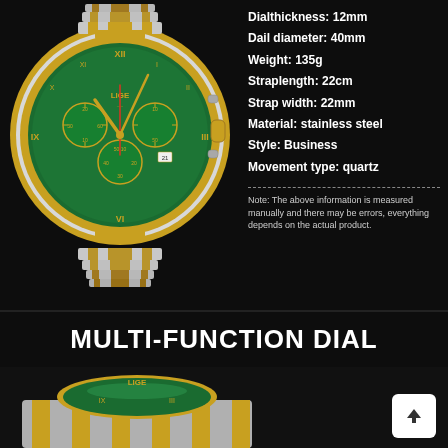[Figure (photo): LIGE brand chronograph watch with green dial, gold Roman numeral indices, gold and silver stainless steel bracelet, shown face-on]
Dialthickness:  12mm
Dail diameter:  40mm
Weight:  135g
Straplength:  22cm
Strap width:  22mm
Material:  stainless steel
Style:  Business
Movement type:  quartz
Note: The above information is measured manually and there may be errors, everything depends on the actual product.
MULTI-FUNCTION DIAL
[Figure (photo): LIGE brand chronograph watch with green dial shown at an angle, displaying the gold and silver stainless steel bracelet]
[Figure (other): Scroll-to-top button (white rounded square with upward arrow)]